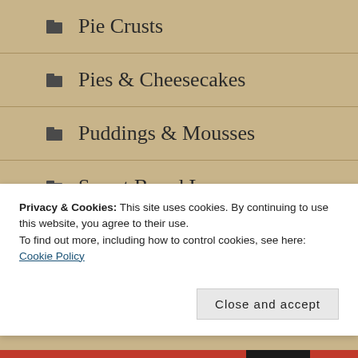Pie Crusts
Pies & Cheesecakes
Puddings & Mousses
Sweet Bread Loaves
XTRA STUFF
Bake Mixes
Privacy & Cookies: This site uses cookies. By continuing to use this website, you agree to their use.
To find out more, including how to control cookies, see here: Cookie Policy
Close and accept